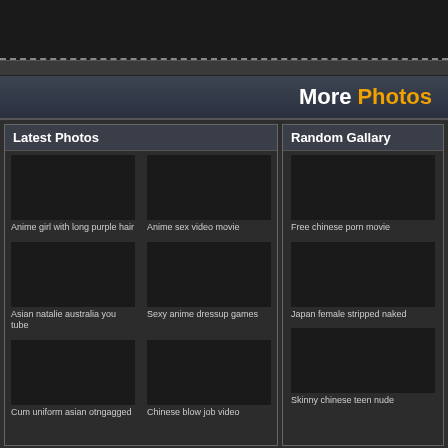More Photos
Latest Photos
[Figure (photo): Thumbnail placeholder - Anime girl with long purple hair]
Anime girl with long purple hair
[Figure (photo): Thumbnail placeholder - Anime sex video movie]
Anime sex video movie
[Figure (photo): Thumbnail placeholder - Asian natalie australia you tube]
Asian natalie australia you tube
[Figure (photo): Thumbnail placeholder - Sexy anime dressup games]
Sexy anime dressup games
[Figure (photo): Thumbnail placeholder - Cum uniform asian otngagged]
Cum uniform asian otngagged
[Figure (photo): Thumbnail placeholder - Chinese blow job video]
Chinese blow job video
Random Gallary
[Figure (photo): Thumbnail placeholder - Free chinese porn movie]
Free chinese porn movie
[Figure (photo): Thumbnail placeholder - Japan female stripped naked]
Japan female stripped naked
[Figure (photo): Thumbnail placeholder - Skinny chinese teen nude]
Skinny chinese teen nude